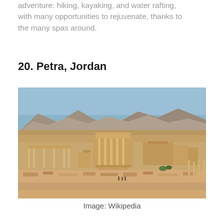adventure: hiking, kayaking, and water rafting, with many opportunities to rejuvenate, thanks to the many spas around.
20. Petra, Jordan
[Figure (photo): Aerial view of the ancient ruins of Petra, Jordan, showing stone structures, columns, terraced levels, and rocky desert mountains in the background under a blue sky.]
Image: Wikipedia